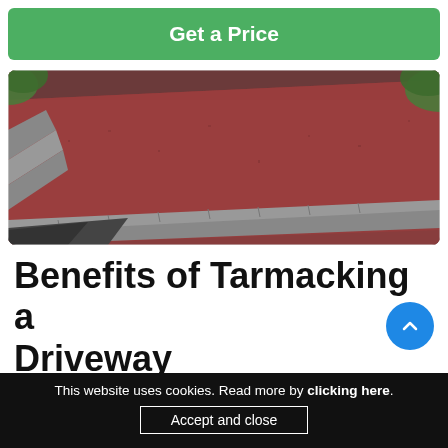Get a Price
[Figure (photo): A red/burgundy tarmac driveway with grey block paving border edging, viewed from above at an angle. Green foliage visible at edges.]
Benefits of Tarmacking a Driveway
Here are some of the main advantages of laying a tarmac driveway:
This website uses cookies. Read more by clicking here. Accept and close